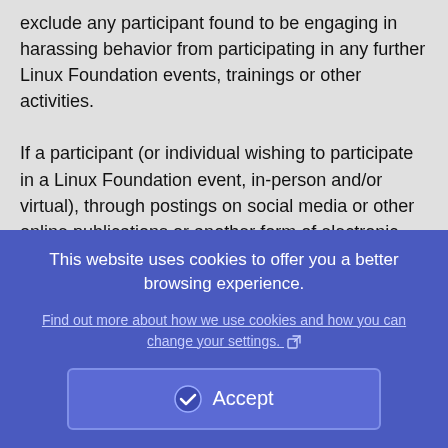exclude any participant found to be engaging in harassing behavior from participating in any further Linux Foundation events, trainings or other activities.

If a participant (or individual wishing to participate in a Linux Foundation event, in-person and/or virtual), through postings on social media or other online publications or another form of electronic communication, engages in conduct that violates this policy, whether before, during or after a Linux Foundation event, The Linux Foundation may take appropriate corrective action, which could include preventing someone from the
This website uses cookies to offer you a better browsing experience.
Find out more about how we use cookies and how you can change your settings.
Accept